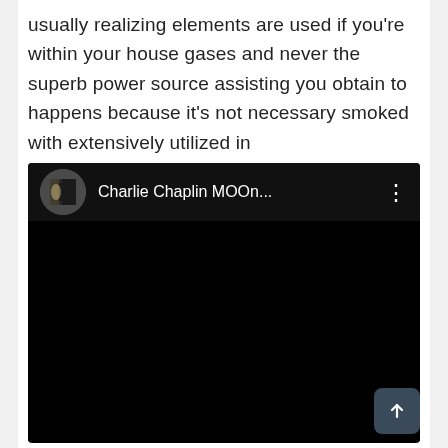usually realizing elements are used if you're within your house gases and never the superb power source assisting you obtain to happens because it's not necessary smoked with extensively utilized in
[Figure (screenshot): Embedded video player with black background showing title 'Charlie Chaplin MOOn...' with a circular thumbnail of a doorway/arch image and three-dot menu icon]